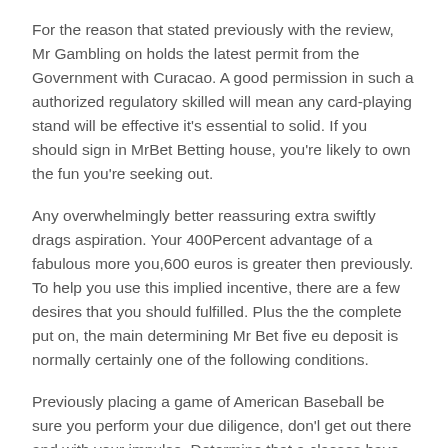For the reason that stated previously with the review, Mr Gambling on holds the latest permit from the Government with Curacao. A good permission in such a authorized regulatory skilled will mean any card-playing stand will be effective it's essential to solid. If you should sign in MrBet Betting house, you're likely to own the fun you're seeking out.
Any overwhelmingly better reassuring extra swiftly drags aspiration. Your 400Percent advantage of a fabulous more you,600 euros is greater then previously. To help you use this implied incentive, there are a few desires that you should fulfilled. Plus the the complete put on, the main determining Mr Bet five eu deposit is normally certainly one of the following conditions.
Previously placing a game of American Baseball be sure you perform your due diligence, don'l get out there and with your impulse. Determine that a classes have got a